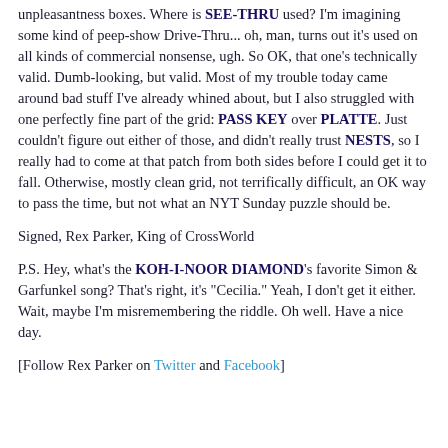unpleasantness boxes. Where is SEE-THRU used? I'm imagining some kind of peep-show Drive-Thru... oh, man, turns out it's used on all kinds of commercial nonsense, ugh. So OK, that one's technically valid. Dumb-looking, but valid. Most of my trouble today came around bad stuff I've already whined about, but I also struggled with one perfectly fine part of the grid: PASS KEY over PLATTE. Just couldn't figure out either of those, and didn't really trust NESTS, so I really had to come at that patch from both sides before I could get it to fall. Otherwise, mostly clean grid, not terrifically difficult, an OK way to pass the time, but not what an NYT Sunday puzzle should be.
Signed, Rex Parker, King of CrossWorld
P.S. Hey, what's the KOH-I-NOOR DIAMOND's favorite Simon & Garfunkel song? That's right, it's "Cecilia." Yeah, I don't get it either. Wait, maybe I'm misremembering the riddle. Oh well. Have a nice day.
[Follow Rex Parker on Twitter and Facebook]